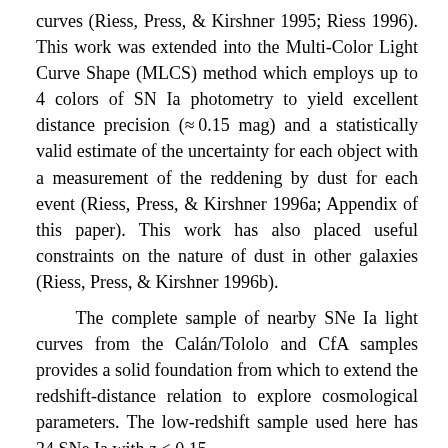curves (Riess, Press, & Kirshner 1995; Riess 1996). This work was extended into the Multi-Color Light Curve Shape (MLCS) method which employs up to 4 colors of SN Ia photometry to yield excellent distance precision (≈ 0.15 mag) and a statistically valid estimate of the uncertainty for each object with a measurement of the reddening by dust for each event (Riess, Press, & Kirshner 1996a; Appendix of this paper). This work has also placed useful constraints on the nature of dust in other galaxies (Riess, Press, & Kirshner 1996b).
The complete sample of nearby SNe Ia light curves from the Calán/Tololo and CfA samples provides a solid foundation from which to extend the redshift-distance relation to explore cosmological parameters. The low-redshift sample used here has 34 SNe Ia with z < 0.15.
Since the high-redshift observations reported here consumed large amounts of observing time at the world's finest telescopes, we have a strong incentive to find efficient ways to use the minimum set of observations to derive the